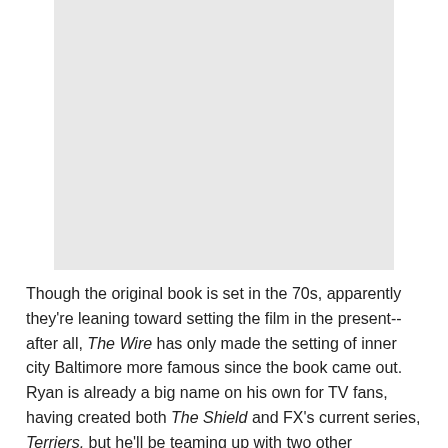[Figure (photo): A light gray rectangular image placeholder occupying the upper portion of the page.]
Though the original book is set in the 70s, apparently they're leaning toward setting the film in the present-- after all, The Wire has only made the setting of inner city Baltimore more famous since the book came out. Ryan is already a big name on his own for TV fans, having created both The Shield and FX's current series, Terriers, but he'll be teaming up with two other